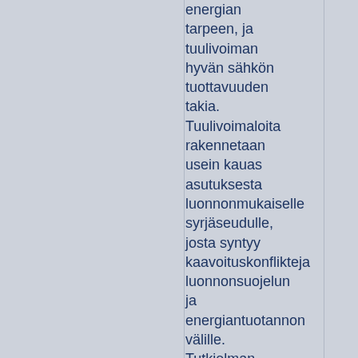energian tarpeen, ja tuulivoiman hyvän sähkön tuottavuuden takia. Tuulivoimaloita rakennetaan usein kauas asutuksesta luonnonmukaiselle syrjäseudulle, josta syntyy kaavoituskonflikteja luonnonsuojelun ja energiantuotannon välille. Tutkielman